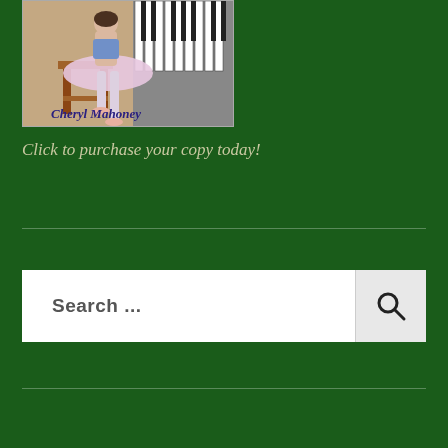[Figure (photo): Book cover showing a ballet dancer sitting on a wooden stool with piano keys in the background, authored by Cheryl Mahoney]
Click to purchase your copy today!
[Figure (other): Search bar with 'Search ...' placeholder text and a magnifying glass search button]